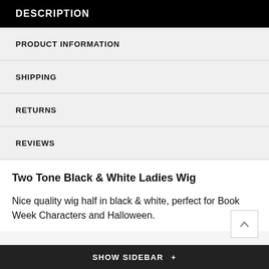DESCRIPTION
PRODUCT INFORMATION
SHIPPING
RETURNS
REVIEWS
Two Tone Black & White Ladies Wig
Nice quality wig half in black & white, perfect for Book Week Characters and Halloween.
SHOW SIDEBAR +